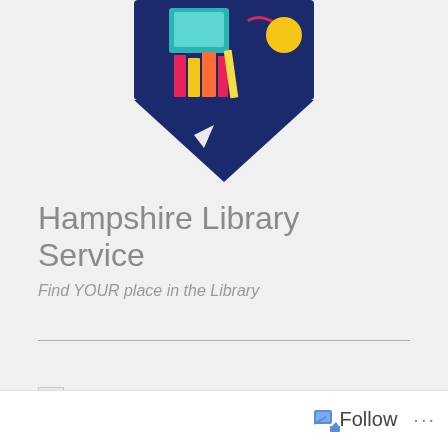[Figure (illustration): Hampshire Library Service logo: colorful diamond/triangle shape with books, pencil, and paper airplane on dark navy background, partially visible at top of page]
Hampshire Library Service
Find YOUR place in the Library
[Figure (photo): Partially visible broken image placeholder with text 'No Time for Goodbye by Linwood Barclay' with strikethrough]
Follow  ···